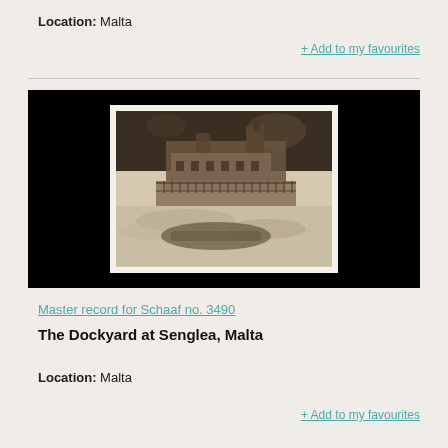Location: Malta
+ Add to my favourites
[Figure (photo): Sepia-toned historical photograph of The Dockyard at Senglea, Malta, showing waterfront buildings and structures, mounted on white card, displayed against a black background.]
Master record for Schaaf no. 3490
The Dockyard at Senglea, Malta
Location: Malta
+ Add to my favourites